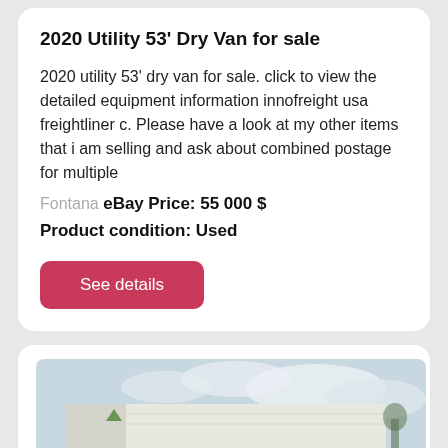2020 Utility 53' Dry Van for sale
2020 utility 53' dry van for sale. click to view the detailed equipment information innofreight usa freightliner c. Please have a look at my other items that i am selling and ask about combined postage for multiple
Fontana
eBay
Price: 55 000 $
Product condition: Used
[Figure (photo): Photo of a white 53-foot dry van trailer with markings '3T0805' on the side, parked outdoors with trees and cloudy sky in the background.]